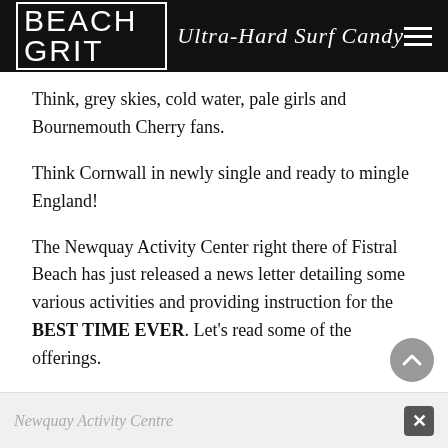BEACH GRIT Ultra-Hard Surf Candy
Think, grey skies, cold water, pale girls and Bournemouth Cherry fans.
Think Cornwall in newly single and ready to mingle England!
The Newquay Activity Center right there of Fistral Beach has just released a news letter detailing some various activities and providing instruction for the BEST TIME EVER. Let’s read some of the offerings.
British pro Sam Lamiroy offers exclusive surf coaching at
Newquay Activity Centre